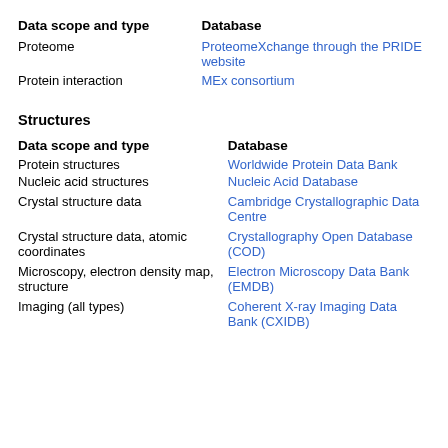| Data scope and type | Database |
| --- | --- |
| Proteome | ProteomeXchange through the PRIDE website |
| Protein interaction | MEx consortium |
Structures
| Data scope and type | Database |
| --- | --- |
| Protein structures | Worldwide Protein Data Bank |
| Nucleic acid structures | Nucleic Acid Database |
| Crystal structure data | Cambridge Crystallographic Data Centre |
| Crystal structure data, atomic coordinates | Crystallography Open Database (COD) |
| Microscopy, electron density map, structure | Electron Microscopy Data Bank (EMDB) |
| Imaging (all types) | Coherent X-ray Imaging Data Bank (CXIDB) |